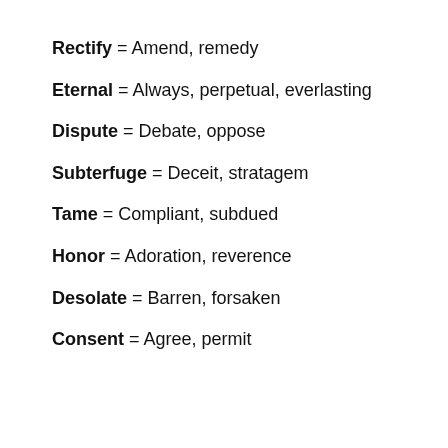Rectify = Amend, remedy
Eternal = Always, perpetual, everlasting
Dispute = Debate, oppose
Subterfuge = Deceit, stratagem
Tame = Compliant, subdued
Honor = Adoration, reverence
Desolate = Barren, forsaken
Consent = Agree, permit